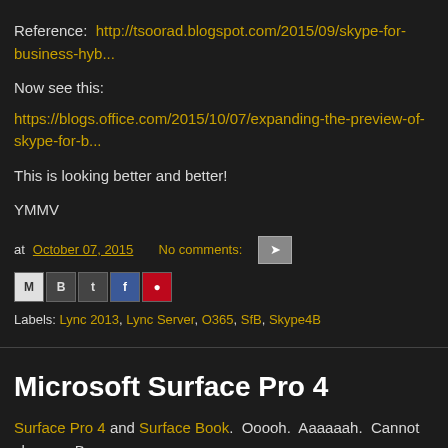Reference: http://tsoorad.blogspot.com/2015/09/skype-for-business-hyb...
Now see this:
https://blogs.office.com/2015/10/07/expanding-the-preview-of-skype-for-b...
This is looking better and better!
YMMV
at October 07, 2015   No comments:
Labels: Lync 2013, Lync Server, O365, SfB, Skype4B
Microsoft Surface Pro 4
Surface Pro 4 and Surface Book.  Ooooh.  Aaaaaah.  Cannot choose.  B...
The Surface Pro 4 appears to need a separate keyboard, while the Surfa... everything else.  And I use my 16GB RAM on a regular basis for virtuals.
Christmas is coming.  Just sayin'
YMMV